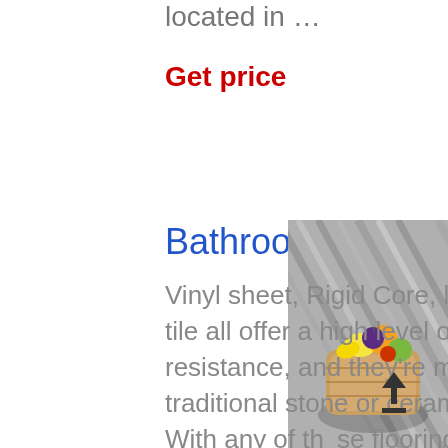located in …
Get price
Bathroom
Vinyl sheet, Rigid Core, luxury vinyl tile and engineered tile all offer a high level of water, stain, and wear resistance, and they're more comfortable underfoot than traditional stone or ceramic tile you'd find in a bathroom. With any of these flooring types, you'll be able to choose variety of on-trend designs
[Figure (photo): Overhead view of a basket of fruits on a grey striped tile or vinyl flooring surface]